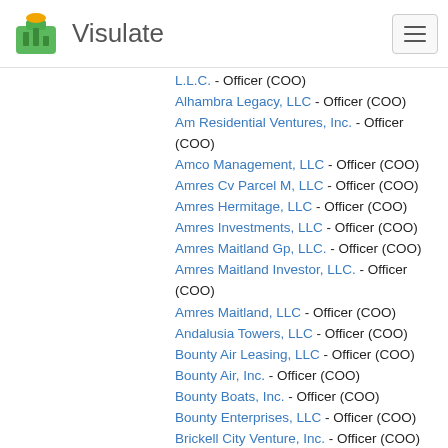Visulate
L.L.C. - Officer (COO)
Alhambra Legacy, LLC - Officer (COO)
Am Residential Ventures, Inc. - Officer (COO)
Amco Management, LLC - Officer (COO)
Amres Cv Parcel M, LLC - Officer (COO)
Amres Hermitage, LLC - Officer (COO)
Amres Investments, LLC - Officer (COO)
Amres Maitland Gp, LLC. - Officer (COO)
Amres Maitland Investor, LLC. - Officer (COO)
Amres Maitland, LLC - Officer (COO)
Andalusia Towers, LLC - Officer (COO)
Bounty Air Leasing, LLC - Officer (COO)
Bounty Air, Inc. - Officer (COO)
Bounty Boats, Inc. - Officer (COO)
Bounty Enterprises, LLC - Officer (COO)
Brickell City Venture, Inc. - Officer (COO)
Center Legacy, LLC - Officer (COO)
Coral Gables City Center, LLC - Officer (COO)
Creative Village Parcel M Owner, LLC - Officer (COO)